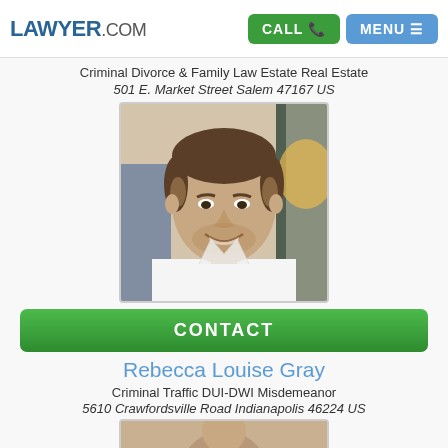LAWYER.COM CALL MENU
Criminal Divorce & Family Law Estate Real Estate
501 E. Market Street Salem 47167 US
[Figure (photo): Headshot photo of a smiling man with short hair wearing a white shirt]
CONTACT
Rebecca Louise Gray
Criminal Traffic DUI-DWI Misdemeanor
5610 Crawfordsville Road Indianapolis 46224 US
[Figure (photo): Partial photo of another lawyer at the bottom of the page]